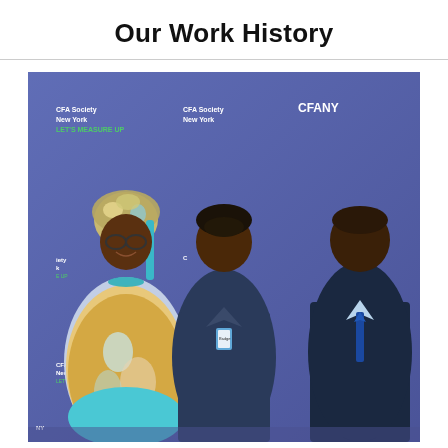Our Work History
[Figure (photo): Three people posing together in front of a CFA Society New York / CFANY branded step-and-repeat banner backdrop. On the left is a woman wearing colorful traditional African attire with a matching head wrap and glasses. In the center is a woman in a navy blue blazer with a conference name badge. On the right is a man in a dark navy suit with a light blue shirt and tie.]